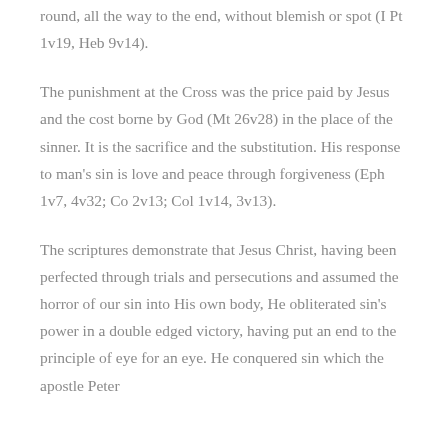round, all the way to the end, without blemish or spot (I Pt 1v19, Heb 9v14).
The punishment at the Cross was the price paid by Jesus and the cost borne by God (Mt 26v28) in the place of the sinner. It is the sacrifice and the substitution. His response to man's sin is love and peace through forgiveness (Eph 1v7, 4v32; Co 2v13; Col 1v14, 3v13).
The scriptures demonstrate that Jesus Christ, having been perfected through trials and persecutions and assumed the horror of our sin into His own body, He obliterated sin's power in a double edged victory, having put an end to the principle of eye for an eye. He conquered sin which the apostle Peter